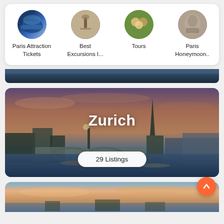[Figure (screenshot): Four circular category icons in a white card: Paris Attraction Tickets, Best Excursions I..., Tours, Paris Honeymoon..]
Paris Attraction Tickets
Best Excursions I...
Tours
Paris Honeymoon..
[Figure (photo): Partial dark banner image at top of page]
[Figure (photo): Zurich city panorama with church steeple, bridge over river, and colorful sunset sky]
Zurich
29 Listings
[Figure (photo): Partial image at bottom of page showing colorful sunset sky over a city]
[Figure (other): Orange circular FAB button with upward arrow]